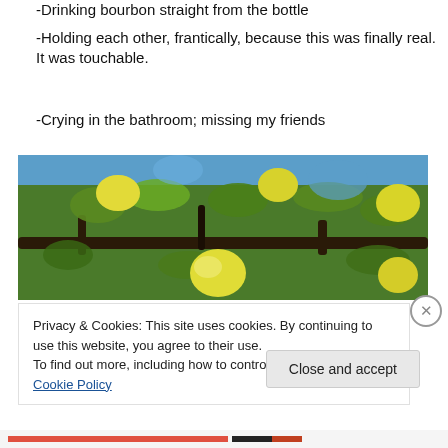-Drinking bourbon straight from the bottle
-Holding each other, frantically, because this was finally real. It was touchable.
-Crying in the bathroom; missing my friends
[Figure (photo): Looking up through a lemon tree with yellow lemons and green leaves against a blue sky]
Privacy & Cookies: This site uses cookies. By continuing to use this website, you agree to their use.
To find out more, including how to control cookies, see here: Cookie Policy
Close and accept